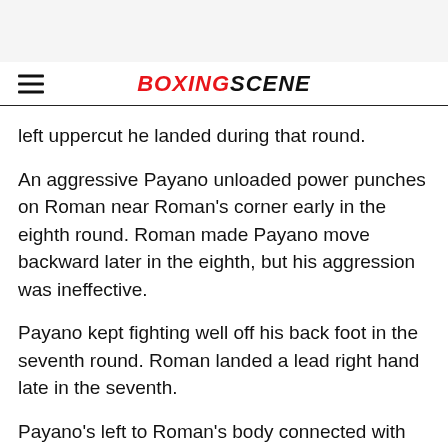BOXINGSCENE
left uppercut he landed during that round.
An aggressive Payano unloaded power punches on Roman near Roman's corner early in the eighth round. Roman made Payano move backward later in the eighth, but his aggression was ineffective.
Payano kept fighting well off his back foot in the seventh round. Roman landed a lead right hand late in the seventh.
Payano's left to Roman's body connected with under a minute remaining in the sixth round.
...